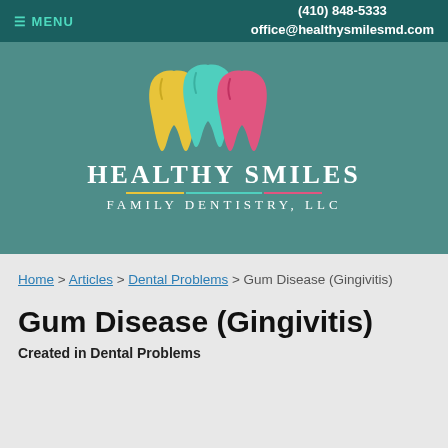≡ MENU   (410) 848-5333   office@healthysmilesmd.com
[Figure (logo): Healthy Smiles Family Dentistry LLC logo with three colorful tooth icons (yellow, teal, pink) above the text HEALTHY SMILES FAMILY DENTISTRY, LLC on a teal background]
Home > Articles > Dental Problems > Gum Disease (Gingivitis)
Gum Disease (Gingivitis)
Created in Dental Problems